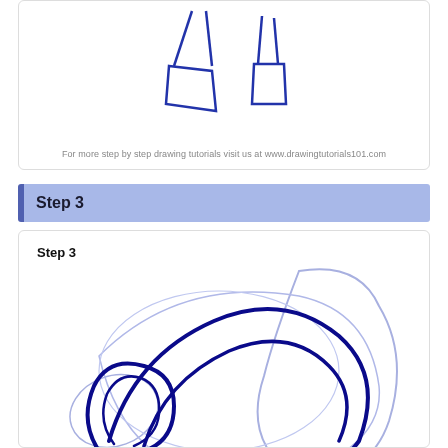[Figure (illustration): Partial top illustration showing two bag/bucket shapes drawn in dark blue outline, part of a step-by-step drawing tutorial]
For more step by step drawing tutorials visit us at www.drawingtutorials101.com
Step 3
[Figure (illustration): Step 3 drawing tutorial illustration showing overlapping curved shapes in dark navy blue and light periwinkle blue, depicting an in-progress figure/character drawing with rounded organic forms]